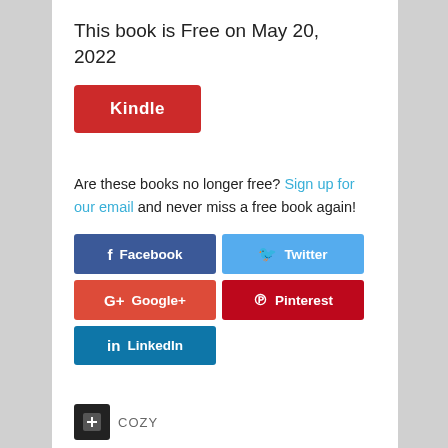This book is Free on May 20, 2022
[Figure (other): Red Kindle button]
Are these books no longer free? Sign up for our email and never miss a free book again!
[Figure (other): Social sharing buttons: Facebook, Twitter, Google+, Pinterest, LinkedIn]